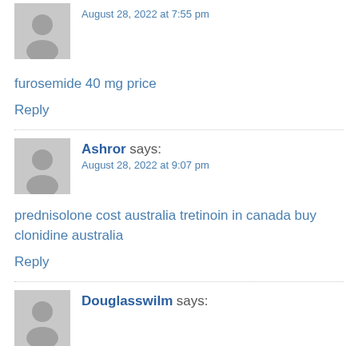August 28, 2022 at 7:55 pm
furosemide 40 mg price
Reply
Ashror says:
August 28, 2022 at 9:07 pm
prednisolone cost australia tretinoin in canada buy clonidine australia
Reply
Douglasswilm says: